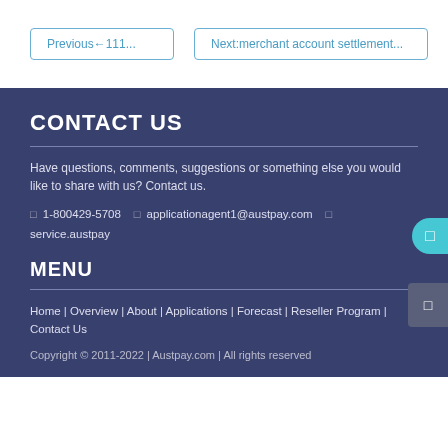Previous←111...
Next:merchant account settlement...
CONTACT US
Have questions, comments, suggestions or something else you would like to share with us? Contact us.
1-800429-5708   applicationagent1@austpay.com   service.austpay
MENU
Home | Overview | About | Applications | Forecast | Reseller Program | Contact Us
Copyright © 2011-2022 | Austpay.com | All rights reserved